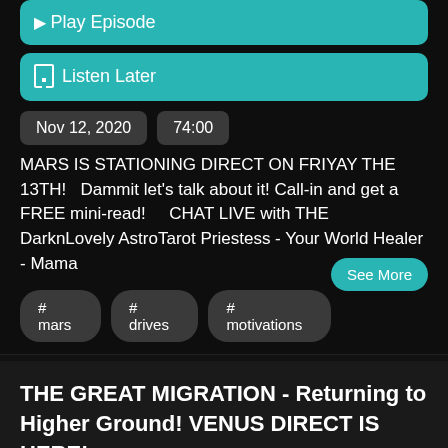▶ Play Episode
☐ Listen Later
Nov 12, 2020
74:00
MARS IS STATIONING DIRECT ON FRIYAY THE 13TH!   Dammit let's talk about it! Call-in and get a FREE mini-read!    CHAT LIVE with THE DarknLovely AstroTarot Priestess - Your World Healer - Mama
See More
# mars
# drives
# motivations
THE GREAT MIGRATION - Returning to Higher Ground! VENUS DIRECT IS HERE!